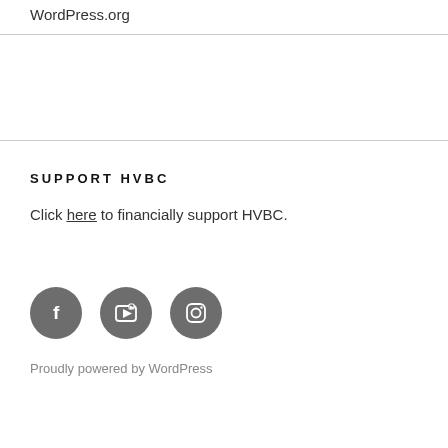WordPress.org
SUPPORT HVBC
Click here to financially support HVBC.
[Figure (illustration): Three social media icon circles (Facebook, YouTube, Instagram) in dark gray]
Proudly powered by WordPress